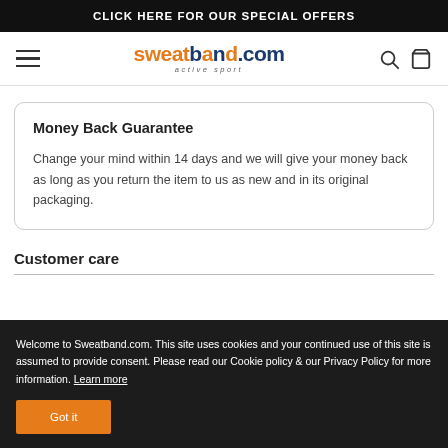CLICK HERE FOR OUR SPECIAL OFFERS
[Figure (logo): Sweatband.com active sport logo with hamburger menu icon, search icon, and bag icon in navigation bar]
Money Back Guarantee
Change your mind within 14 days and we will give your money back as long as you return the item to us as new and in its original packaging.
Customer care
Welcome to Sweatband.com. This site uses cookies and your continued use of this site is assumed to provide consent. Please read our Cookie policy & our Privacy Policy for more information. Learn more